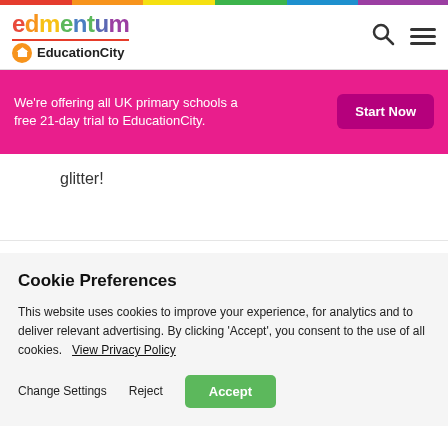[Figure (logo): Edmentum and EducationCity logos with rainbow divider bar and search/hamburger icons]
We're offering all UK primary schools a free 21-day trial to EducationCity.
Start Now
glitter!
Cookie Preferences
This website uses cookies to improve your experience, for analytics and to deliver relevant advertising. By clicking 'Accept', you consent to the use of all cookies.  View Privacy Policy
Change Settings   Reject   Accept